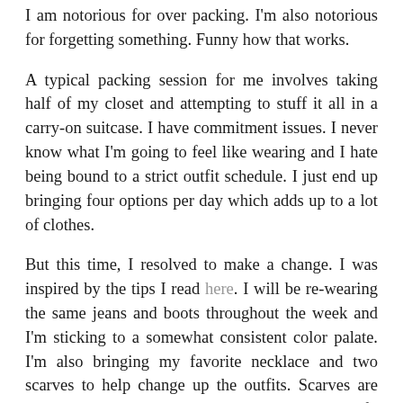I am notorious for over packing. I'm also notorious for forgetting something. Funny how that works.
A typical packing session for me involves taking half of my closet and attempting to stuff it all in a carry-on suitcase. I have commitment issues. I never know what I'm going to feel like wearing and I hate being bound to a strict outfit schedule. I just end up bringing four options per day which adds up to a lot of clothes.
But this time, I resolved to make a change. I was inspired by the tips I read here. I will be re-wearing the same jeans and boots throughout the week and I'm sticking to a somewhat consistent color palate. I'm also bringing my favorite necklace and two scarves to help change up the outfits. Scarves are easy to pack and a great option to pull and outfit together. Madewell and Zara make some great ones.
So, I turned to my trusty friend Excel for some organizational help. I made a snapshot of the week we'll be in Maryland. I then outlined each day, considered